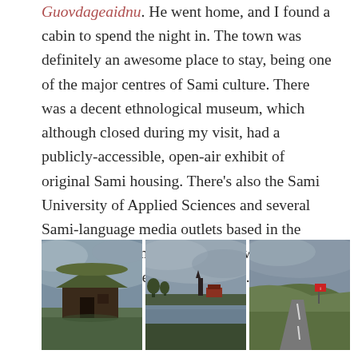Guovdageaidnu. He went home, and I found a cabin to spend the night in. The town was definitely an awesome place to stay, being one of the major centres of Sami culture. There was a decent ethnological museum, which although closed during my visit, had a publicly-accessible, open-air exhibit of original Sami housing. There’s also the Sami University of Applied Sciences and several Sami-language media outlets based in the town. My dancing driver from Sweden was right in recommending this town.
[Figure (photo): Three side-by-side outdoor photographs. Left: a traditional Sami log cabin with a sod roof on a green field under a cloudy sky. Middle: a wide river landscape with distant church spire and red building under grey clouds. Right: a grassy hillside with a road and a road sign under overcast sky.]